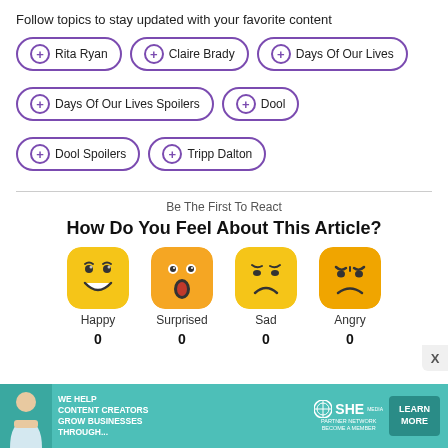Follow topics to stay updated with your favorite content
+ Rita Ryan
+ Claire Brady
+ Days Of Our Lives
+ Days Of Our Lives Spoilers
+ Dool
+ Dool Spoilers
+ Tripp Dalton
Be The First To React
How Do You Feel About This Article?
[Figure (infographic): Four emoji reaction buttons: Happy (0), Surprised (0), Sad (0), Angry (0)]
[Figure (infographic): Advertisement banner: WE HELP CONTENT CREATORS GROW BUSINESSES THROUGH... SHE PARTNER NETWORK BECOME A MEMBER LEARN MORE]